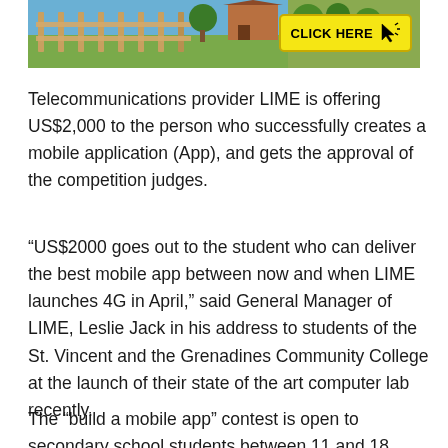[Figure (photo): Advertisement banner with outdoor scene (fence, greenery, house) and a yellow 'CLICK HERE' button with cursor icon on the right side]
Telecommunications provider LIME is offering US$2,000 to the person who successfully creates a mobile application (App), and gets the approval of the competition judges.
“US$2000 goes out to the student who can deliver the best mobile app between now and when LIME launches 4G in April,” said General Manager of LIME, Leslie Jack in his address to students of the St. Vincent and the Grenadines Community College at the launch of their state of the art computer lab recently.
The “build a mobile app” contest is open to secondary school students between 11 and 18 years, and will see